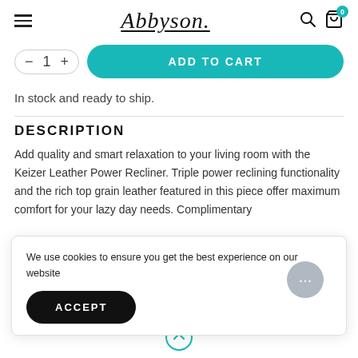Abbyson
In stock and ready to ship.
DESCRIPTION
Add quality and smart relaxation to your living room with the Keizer Leather Power Recliner. Triple power reclining functionality and the rich top grain leather featured in this piece offer maximum comfort for your lazy day needs. Complimentary
We use cookies to ensure you get the best experience on our website